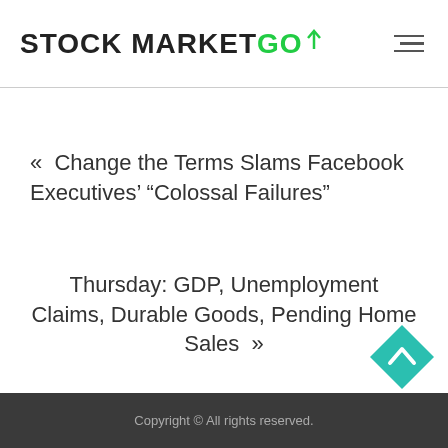STOCK MARKET GO
« Change the Terms Slams Facebook Executives' “Colossal Failures”
Thursday: GDP, Unemployment Claims, Durable Goods, Pending Home Sales »
Copyright © All rights reserved.